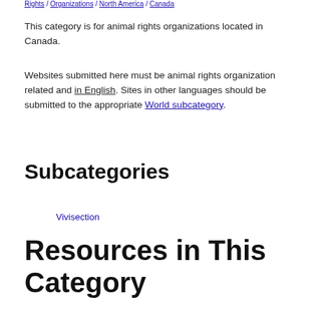Rights / Organizations / North America / Canada
This category is for animal rights organizations located in Canada.
Websites submitted here must be animal rights organization related and in English. Sites in other languages should be submitted to the appropriate World subcategory.
Subcategories
Vivisection
Resources in This Category